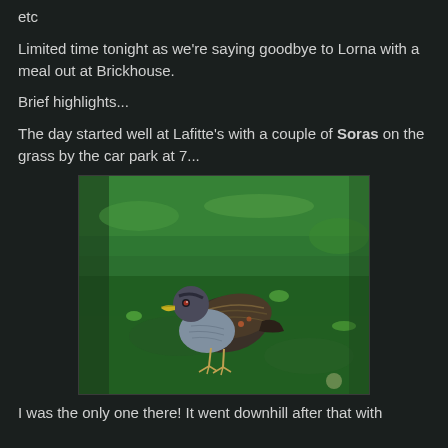etc
Limited time tonight as we're saying goodbye to Lorna with a meal out at Brickhouse.
Brief highlights...
The day started well at Lafitte's with a couple of Soras on the grass by the car park at 7...
[Figure (photo): A Sora bird standing on green grass, viewed from the side. The bird has a grey chest, dark brown/black patterned back, yellow-green beak, and grey head.]
I was the only one there! It went downhill after that with